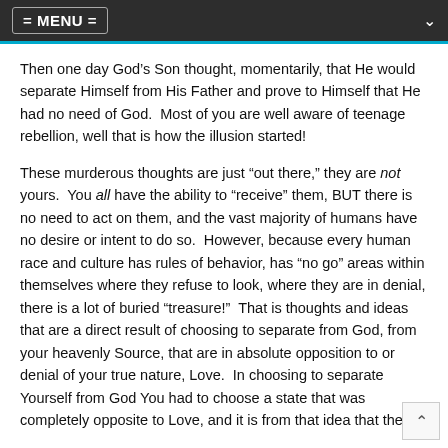= MENU =
Then one day God’s Son thought, momentarily, that He would separate Himself from His Father and prove to Himself that He had no need of God.  Most of you are well aware of teenage rebellion, well that is how the illusion started!
These murderous thoughts are just “out there,” they are not yours.  You all have the ability to “receive” them, BUT there is no need to act on them, and the vast majority of humans have no desire or intent to do so.  However, because every human race and culture has rules of behavior, has “no go” areas within themselves where they refuse to look, where they are in denial, there is a lot of buried “treasure!”  That is thoughts and ideas that are a direct result of choosing to separate from God, from your heavenly Source, that are in absolute opposition to or denial of your true nature, Love.  In choosing to separate Yourself from God You had to choose a state that was completely opposite to Love, and it is from that idea that these